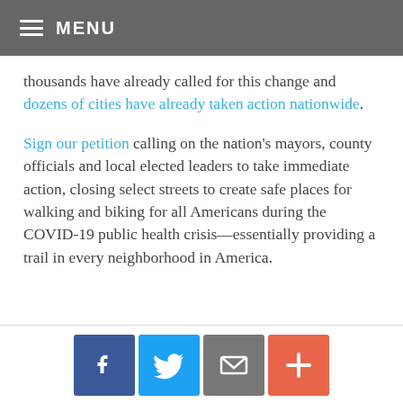MENU
thousands have already called for this change and dozens of cities have already taken action nationwide.
Sign our petition calling on the nation’s mayors, county officials and local elected leaders to take immediate action, closing select streets to create safe places for walking and biking for all Americans during the COVID-19 public health crisis—essentially providing a trail in every neighborhood in America.
[Figure (infographic): Social sharing buttons: Facebook, Twitter, Email, and a plus/more button]